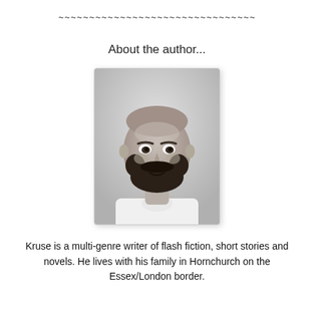~~~~~~~~~~~~~~~~~~~~~~~~~~~~~~~~
About the author...
[Figure (photo): Black and white headshot photograph of a bald man with a dark beard wearing a white t-shirt, against a light background.]
Kruse is a multi-genre writer of flash fiction, short stories and novels. He lives with his family in Hornchurch on the Essex/London border.